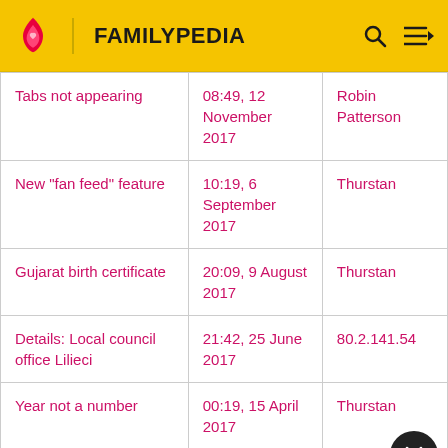FAMILYPEDIA
| Tabs not appearing | 08:49, 12 November 2017 | Robin Patterson |
| New "fan feed" feature | 10:19, 6 September 2017 | Thurstan |
| Gujarat birth certificate | 20:09, 9 August 2017 | Thurstan |
| Details: Local council office Lilieci | 21:42, 25 June 2017 | 80.2.141.54 |
| Year not a number | 00:19, 15 April 2017 | Thurstan |
| SMW on Familypedia | 05:50, 26 December... | Robin Patterson |